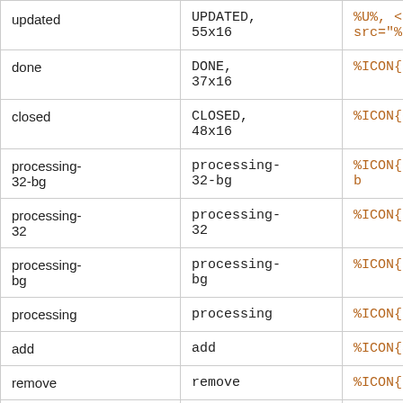|  |  |  |
| --- | --- | --- |
| updated | UPDATED,
55x16 | %U%, <
src="%ICONURL{update |
| done | DONE,
37x16 | %ICON{dor |
| closed | CLOSED,
48x16 | %ICON{close |
| processing-
32-bg | processing-
32-bg | %ICON{processing-
b |
| processing-
32 | processing-
32 | %ICON{processing-3 |
| processing-
bg | processing-
bg | %ICON{processing-b |
| processing | processing | %ICON{processir |
| add | add | %ICON{ac |
| remove | remove | %ICON{remov |
| minus | Minus | %ICON{mir |